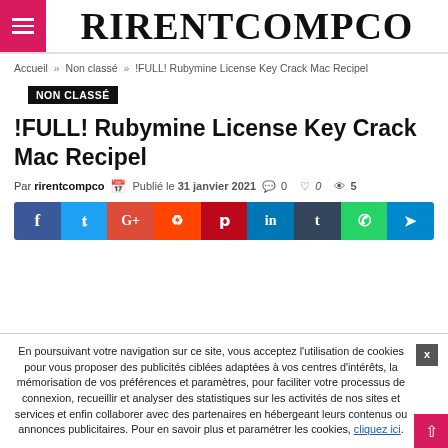RIRENTCOMPCO
Accueil » Non classé » !FULL! Rubymine License Key Crack Mac Recipel
NON CLASSÉ
!FULL! Rubymine License Key Crack Mac Recipel
Par rirentcompco  Publié le 31 janvier 2021  0  0  5
[Figure (infographic): Social sharing buttons: Facebook, Twitter, Google+, Reddit, Pinterest, LinkedIn, Tumblr, WhatsApp, Telegram]
En poursuivant votre navigation sur ce site, vous acceptez l'utilisation de cookies pour vous proposer des publicités ciblées adaptées à vos centres d'intérêts, la mémorisation de vos préférences et paramètres, pour faciliter votre processus de connexion, recueillir et analyser des statistiques sur les activités de nos sites et services et enfin collaborer avec des partenaires en hébergeant leurs contenus ou annonces publicitaires. Pour en savoir plus et paramétrer les cookies, cliquez ici.